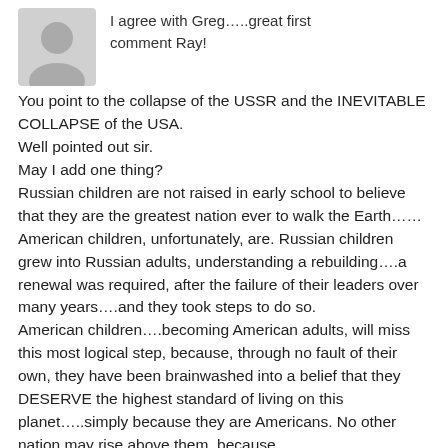[Figure (illustration): Generic user avatar placeholder icon (gray silhouette)]
I agree with Greg…..great first comment Ray!
You point to the collapse of the USSR and the INEVITABLE COLLAPSE of the USA.
Well pointed out sir.
May I add one thing?
Russian children are not raised in early school to believe that they are the greatest nation ever to walk the Earth……American children, unfortunately, are. Russian children grew into Russian adults, understanding a rebuilding….a renewal was required, after the failure of their leaders over many years….and they took steps to do so.
American children….becoming American adults, will miss this most logical step, because, through no fault of their own, they have been brainwashed into a belief that they DESERVE the highest standard of living on this planet…..simply because they are Americans. No other nation may rise above them, because…because….because….we are Americans, and WE MUST RULE EVERYTHING….BECAUSE AMERICA IST HIS PLANET FOREVER!!!!